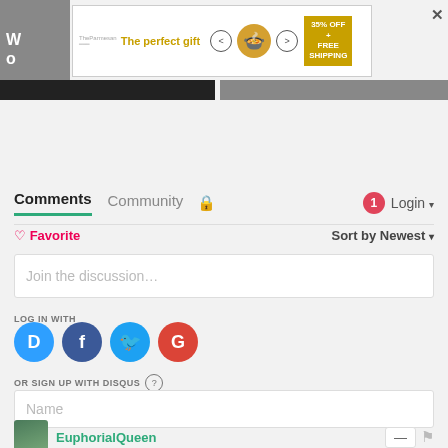[Figure (screenshot): Advertisement banner: 'The perfect gift' with food imagery, navigation arrows, and '35% OFF + FREE SHIPPING' gold badge]
[Figure (screenshot): Two partially visible content cards: 'Game Pack ...' on black background and 'Laundry ...' on gray background]
Comments  Community  🔒  1  Login
♡ Favorite   Sort by Newest
Join the discussion…
LOG IN WITH
[Figure (logo): Social login icons: Disqus (D), Facebook (f), Twitter bird, Google (G)]
OR SIGN UP WITH DISQUS ?
Name
EuphorialQueen